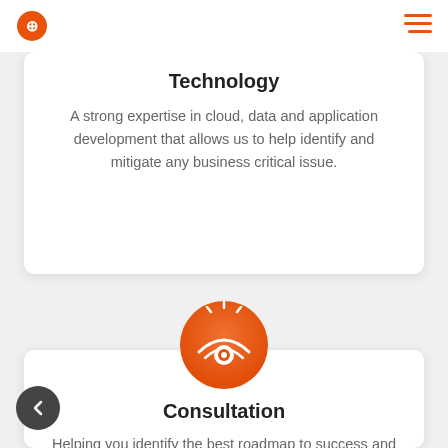Navigation bar with logo and menu icon
Technology
A strong expertise in cloud, data and application development that allows us to help identify and mitigate any business critical issue.
[Figure (illustration): Orange circular icon with a radar/eye symbol and light rays at the top, representing Consultation service]
Consultation
Helping you identify the best roadmap to success and charting the most optimal path, we've specialized in consulting businesses.